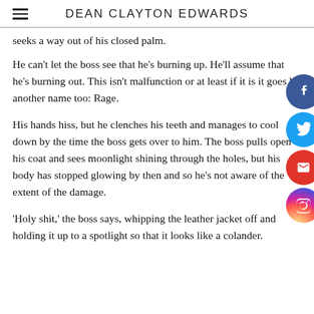DEAN CLAYTON EDWARDS
seeks a way out of his closed palm.
He can't let the boss see that he's burning up. He'll assume that he's burning out. This isn't malfunction or at least if it is it goes by another name too: Rage.
His hands hiss, but he clenches his teeth and manages to cool down by the time the boss gets over to him. The boss pulls open his coat and sees moonlight shining through the holes, but his body has stopped glowing by then and so he's not aware of the extent of the damage.
'Holy shit,' the boss says, whipping the leather jacket off and holding it up to a spotlight so that it looks like a colander.